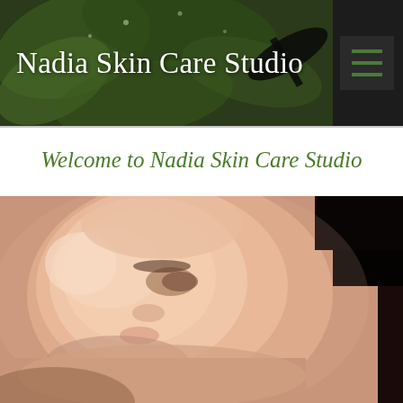Nadia Skin Care Studio
Welcome to Nadia Skin Care Studio
[Figure (photo): Close-up blurred photo of a woman's face lying down, receiving a facial skin care treatment. Soft skin tones with black background on upper right.]